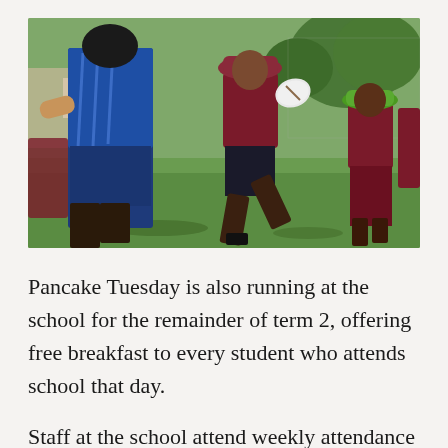[Figure (photo): Children in maroon school uniforms playing rugby/touch football on a grass oval with an adult in a blue sports shirt. A child in the centre is running with a ball, another child in a green hat is to the right, with a chain-link fence and trees in the background.]
Pancake Tuesday is also running at the school for the remainder of term 2, offering free breakfast to every student who attends school that day.
Staff at the school attend weekly attendance